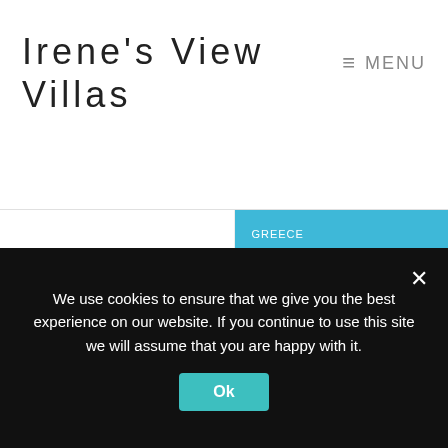Irene's View Villas
[Figure (logo): Greece Health First circular badge with Hippocrates profile and text 'GREECE HEALTH FIRST', 'HIPPOCRATES', 'SAFE SINCE 460BC']
[Figure (infographic): Blue panel reading GREECE HEALTH FIRST. with QR code and text 'Health and safety protocols in place']
We use cookies to ensure that we give you the best experience on our website. If you continue to use this site we will assume that you are happy with it.